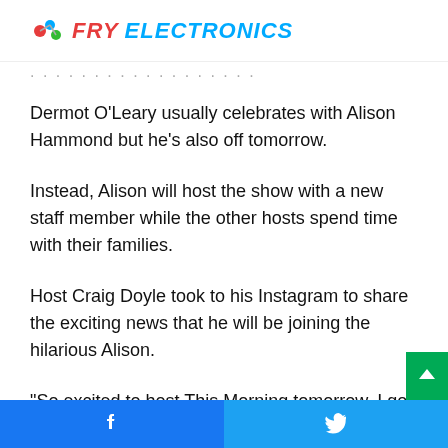FRY ELECTRONICS
Dermot O'Leary usually celebrates with Alison Hammond but he's also off tomorrow.
Instead, Alison will host the show with a new staff member while the other hosts spend time with their families.
Host Craig Doyle took to his Instagram to share the exciting news that he will be joining the hilarious Alison.
“So excited to host This Morning tomorrow, I got to work 14 o’clock!” he say.
“Join @alisonhammond55 and me from 10am @thismorning
Facebook share | Twitter share